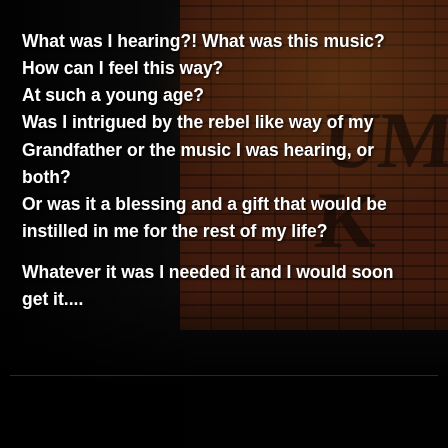What was I hearing?! What was this music?
How can I feel this way?
At such a young age?
Was I intrigued by the rebel like way of my Grandfather or the music I was hearing, or both?
Or was it a blessing and a gift that would be instilled in me for the rest of my life?

Whatever it was I needed it and I would soon get it....